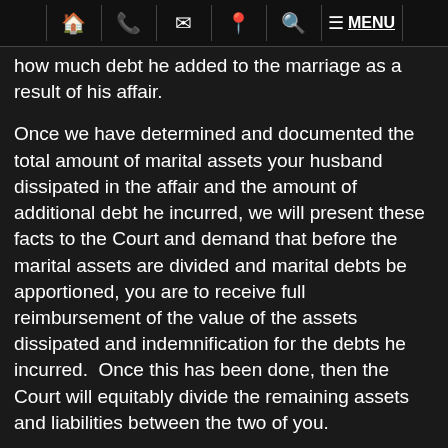[navigation icons: home, phone, email, location, search, menu]
how much debt he added to the marriage as a result of his affair.
Once we have determined and documented the total amount of marital assets your husband dissipated in the affair and the amount of additional debt he incurred, we will present these facts to the Court and demand that before the marital assets are divided and marital debts be apportioned, you are to receive full reimbursement of the value of the assets dissipated and indemnification for the debts he incurred.  Once this has been done, then the Court will equitably divide the remaining assets and liabilities between the two of you.
Child support will be determined pursuant to the provisions of §61.30, Florida Statutes and is not affected by your husband's affair.  To better understand what you may expect to receive on child support, read our...